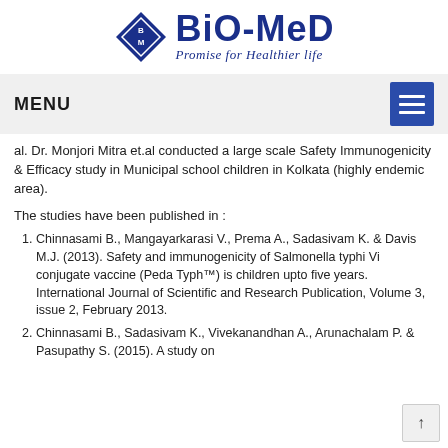[Figure (logo): Bio-Med logo with diamond BM emblem and tagline 'Promise for Healthier life']
MENU
al. Dr. Monjori Mitra et.al conducted a large scale Safety Immunogenicity & Efficacy study in Municipal school children in Kolkata (highly endemic area).
The studies have been published in :
Chinnasami B., Mangayarkarasi V., Prema A., Sadasivam K. & Davis M.J. (2013). Safety and immunogenicity of Salmonella typhi Vi conjugate vaccine (Peda Typh™) is children upto five years. International Journal of Scientific and Research Publication, Volume 3, issue 2, February 2013.
Chinnasami B., Sadasivam K., Vivekanandhan A., Arunachalam P. & Pasupathy S. (2015). A study on